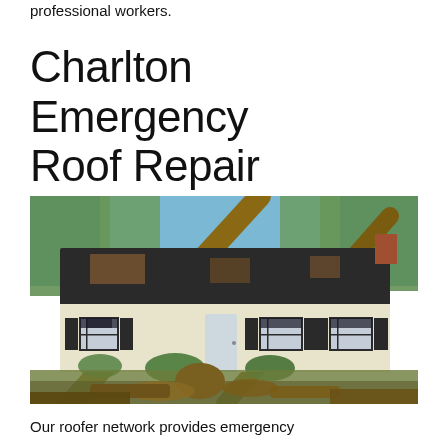professional workers.
Charlton Emergency Roof Repair Services
[Figure (photo): A house with storm damage showing fallen trees leaning against the roof, with debris scattered across the front yard. The house has white/cream siding with dark shutters and a dark asphalt roof with visible damage.]
Our roofer network provides emergency